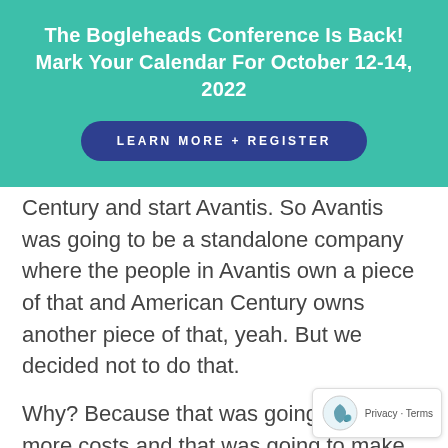The Bogleheads Conference Is Back! Mark Your Calendar For October 12-14, 2022
LEARN MORE + REGISTER
Century and start Avantis. So Avantis was going to be a standalone company where the people in Avantis own a piece of that and American Century owns another piece of that, yeah. But we decided not to do that.
Why? Because that was going to impose more costs and that was going to make us have higher expense ratios. So what we did is we created Avantis as a unit inside